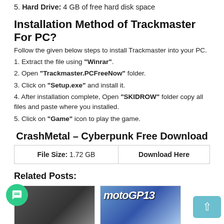5. Hard Drive: 4 GB of free hard disk space
Installation Method of Trackmaster For PC?
Follow the given below steps to install Trackmaster into your PC.
1. Extract the file using "Winrar".
2. Open "Trackmaster.PCFreeNow" folder.
3. Click on "Setup.exe" and install it.
4. After installation complete, Open "SKIDROW" folder copy all files and paste where you installed.
5. Click on "Game" icon to play the game.
CrashMetal – Cyberpunk Free Download
| File Size: 1.72 GB | Download Here |
| --- | --- |
Related Posts:
[Figure (photo): Related post image - dark racing game screenshot]
[Figure (photo): MotoGP 13 game cover image]